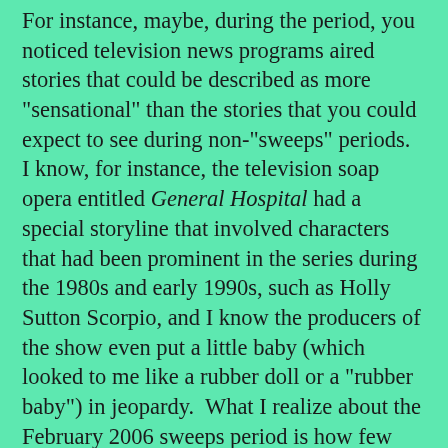For instance, maybe, during the period, you noticed television news programs aired stories that could be described as more "sensational" than the stories that you could expect to see during non-"sweeps" periods.  I know, for instance, the television soap opera entitled General Hospital had a special storyline that involved characters that had been prominent in the series during the 1980s and early 1990s, such as Holly Sutton Scorpio, and I know the producers of the show even put a little baby (which looked to me like a rubber doll or a "rubber baby") in jeopardy.  What I realize about the February 2006 sweeps period is how few "specials" were used by the broadcast television networks.  I remember when the broadcast television networks often aired "specials" during the sweeps periods (which are, generally speaking, in November, February, early May, and early July), or at the very least, I remember, in decades past, broadcast television networks felt "specials" were important in